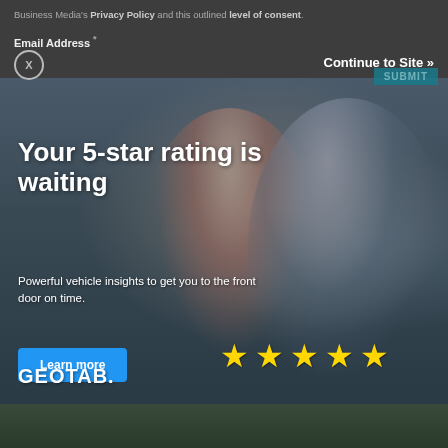Business Media's Privacy Policy and this outlined level of consent.
Email Address *
X
Continue to Site »
SUBMIT
[Figure (photo): Advertisement for Geotab featuring two people (a woman in a plaid shirt and a man in work overalls) looking at a tablet/document together in a home or office setting. Text overlay reads 'Your 5-star rating is waiting. Powerful vehicle insights to get you to the front door on time.' Five gold stars and a 'Learn more' button are displayed. Geotab logo at bottom left.]
Your 5-star rating is waiting
Powerful vehicle insights to get you to the front door on time.
Learn more
GEOTAB.